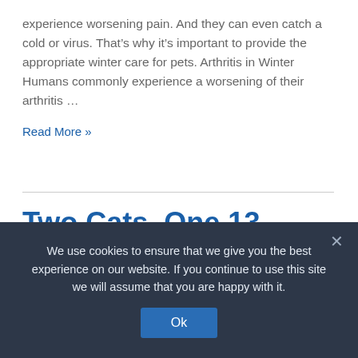experience worsening pain. And they can even catch a cold or virus. That's why it's important to provide the appropriate winter care for pets. Arthritis in Winter Humans commonly experience a worsening of their arthritis …
Read More »
Two Cats, One 13 Hour Road Trip
Cats, News
We use cookies to ensure that we give you the best experience on our website. If you continue to use this site we will assume that you are happy with it.